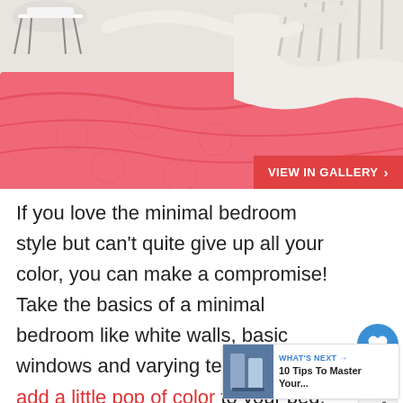[Figure (photo): Bedroom photo showing a bed with a coral/pink comforter and white/striped throw blankets and pillows, with a white modern chair visible in the upper left corner. A red 'VIEW IN GALLERY >' button overlays the bottom right of the image.]
If you love the minimal bedroom style but can't quite give up all your color, you can make a compromise! Take the basics of a minimal bedroom like white walls, basic windows and varying textures but add a little pop of color to your bed. Or you can choose a print that's a little brighter than well, white. (via Creature Comforts)